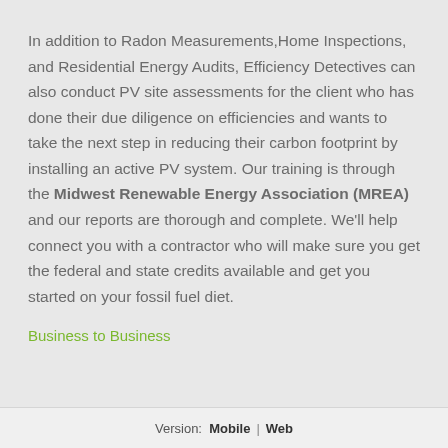In addition to Radon Measurements,Home Inspections, and Residential Energy Audits, Efficiency Detectives can also conduct PV site assessments for the client who has done their due diligence on efficiencies and wants to take the next step in reducing their carbon footprint by installing an active PV system. Our training is through the Midwest Renewable Energy Association (MREA) and our reports are thorough and complete. We'll help connect you with a contractor who will make sure you get the federal and state credits available and get you started on your fossil fuel diet.
Business to Business
Version:  Mobile  |  Web